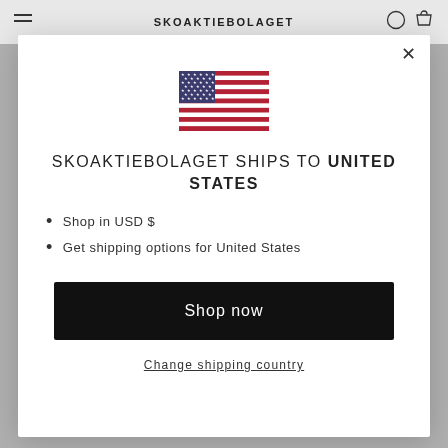SKOAKTIEBOLAGET
[Figure (illustration): United States flag]
SKOAKTIEBOLAGET SHIPS TO UNITED STATES
Shop in USD $
Get shipping options for United States
Shop now
Change shipping country